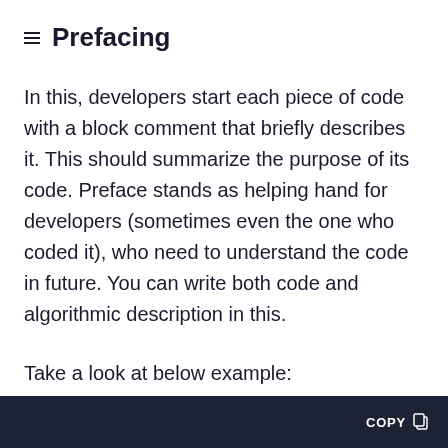≡ Prefacing
In this, developers start each piece of code with a block comment that briefly describes it. This should summarize the purpose of its code. Preface stands as helping hand for developers (sometimes even the one who coded it), who need to understand the code in future. You can write both code and algorithmic description in this.
Take a look at below example:
[Figure (screenshot): Dark code block footer bar with COPY button and clipboard icon on the right side]